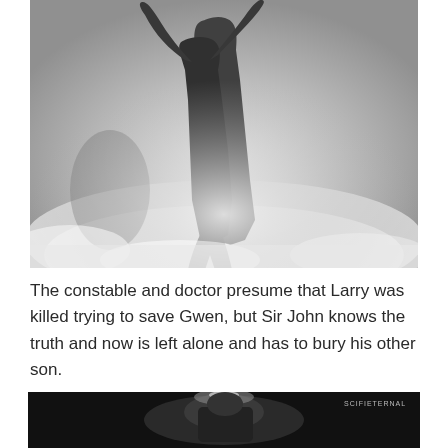[Figure (photo): Black and white photograph showing two figures in a dramatic scene, appearing to struggle or embrace in what looks like snow or mist, with one figure's arms raised]
The constable and doctor presume that Larry was killed trying to save Gwen, but Sir John knows the truth and now is left alone and has to bury his other son.
[Figure (photo): Black and white photograph, partially visible at bottom of page, dark scene with a figure visible, watermark reading 'SCIFIETERNAL' in upper right corner]